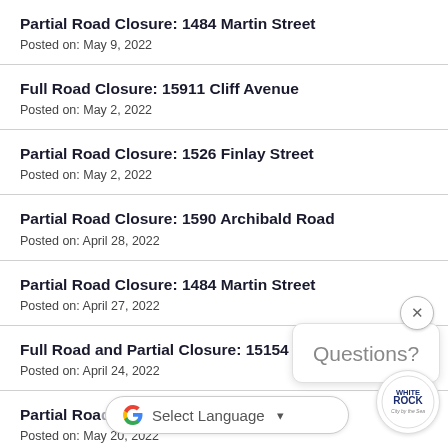Partial Road Closure: 1484 Martin Street
Posted on: May 9, 2022
Full Road Closure: 15911 Cliff Avenue
Posted on: May 2, 2022
Partial Road Closure: 1526 Finlay Street
Posted on: May 2, 2022
Partial Road Closure: 1590 Archibald Road
Posted on: April 28, 2022
Partial Road Closure: 1484 Martin Street
Posted on: April 27, 2022
Full Road and Partial Closure: 15154 Russ…
Posted on: April 24, 2022
Partial Road… Street
Posted on: May 20, 2022